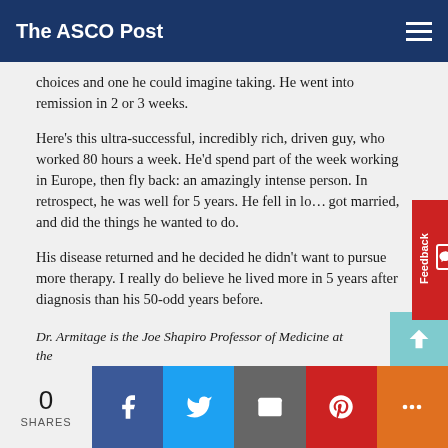The ASCO Post
choices and one he could imagine taking. He went into remission in 2 or 3 weeks.
Here’s this ultra-successful, incredibly rich, driven guy, who worked 80 hours a week. He’d spend part of the week working in Europe, then fly back: an amazingly intense person. In retrospect, he was well for 5 years. He fell in lo… got married, and did the things he wanted to do.
His disease returned and he decided he didn’t want to pursue more therapy. I really do believe he lived more in 5 years after diagnosis than his 50-odd years before.
I think he would say that. ■
Dr. Armitage is the Joe Shapiro Professor of Medicine at the